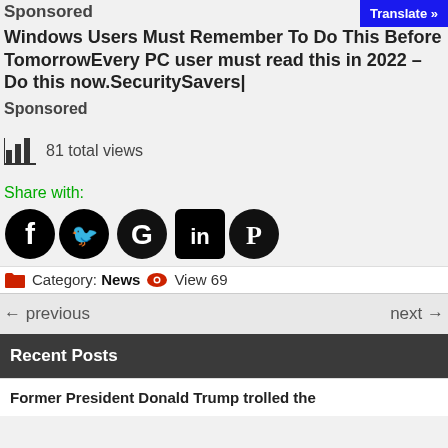Sponsored
Windows Users Must Remember To Do This Before TomorrowEvery PC user must read this in 2022 – Do this now.SecuritySavers|
Sponsored
81 total views
Share with:
[Figure (infographic): Social media share icons: Facebook, Twitter, Google, LinkedIn, Pinterest]
Category: News  View 69
← previous   next →
Recent Posts
Former President Donald Trump trolled the